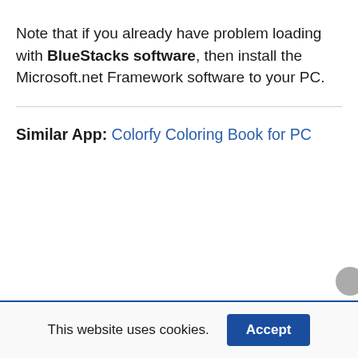Note that if you already have problem loading with BlueStacks software, then install the Microsoft.net Framework software to your PC.
Similar App: Colorfy Coloring Book for PC
This website uses cookies.